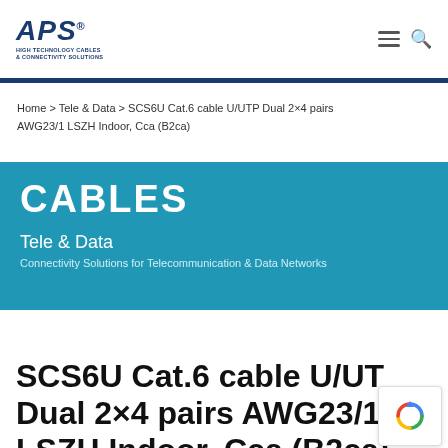APS HIGH TECHNOLOGY CABLES & CONNECTIVITY SOLUTIONS
Home > Tele & Data > SCS6U Cat.6 cable U/UTP Dual 2×4 pairs AWG23/1 LSZH Indoor, Cca (B2ca)
CABLES
Tele & Data
Connectivity Solutions for Telecommunication & Data Networks
SCS6U Cat.6 cable U/UTP Dual 2×4 pairs AWG23/1 LSZH Indoor, Cca (B2ca)